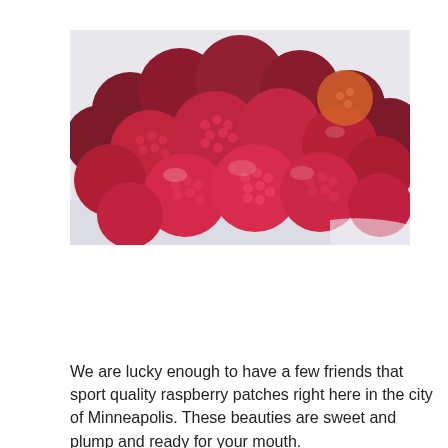[Figure (photo): A close-up photograph of a large pile of fresh red raspberries on a white plate or surface.]
We are lucky enough to have a few friends that sport quality raspberry patches right here in the city of Minneapolis. These beauties are sweet and plump and ready for your mouth.